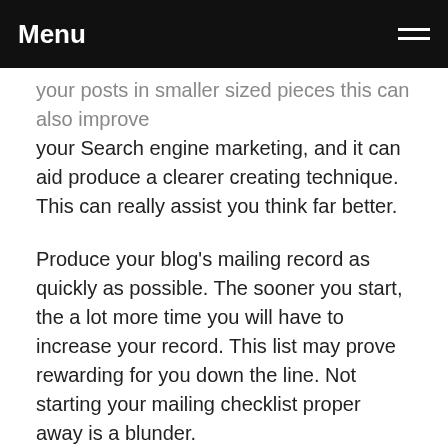Menu
your posts in smaller sized pieces this can also improve your Search engine marketing, and it can aid produce a clearer creating technique. This can really assist you think far better.
Produce your blog's mailing record as quickly as possible. The sooner you start, the a lot more time you will have to increase your record. This list may prove rewarding for you down the line. Not starting your mailing checklist proper away is a blunder.
Make certain that you are blogging for the appropriate causes. If http://sc.sie.gov.hk/TuniS/xn--mk1bq3l9xl9paf2z.com are looking for some swift income, this is not the way to go. Blogging need to be